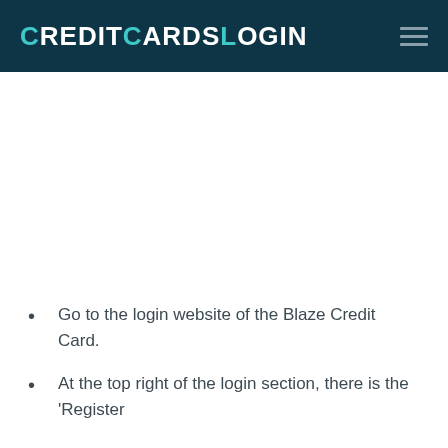CreditCardsLogin
Go to the login website of the Blaze Credit Card.
At the top right of the login section, there is the 'Register